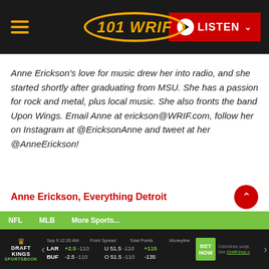[Figure (screenshot): 101 WRIF radio station website header with hamburger menu, oval logo, and red LISTEN button]
Anne Erickson's love for music drew her into radio, and she started shortly after graduating from MSU. She has a passion for rock and metal, plus local music. She also fronts the band Upon Wings. Email Anne at erickson@WRIF.com, follow her on Instagram at @EricksonAnne and tweet at her @AnneErickson!
Anne Erickson, Everything Detroit
You May Also Like
[Figure (screenshot): DraftKings Sportsbook widget showing NFL game LAR vs BUF with point spreads, totals, and moneylines]